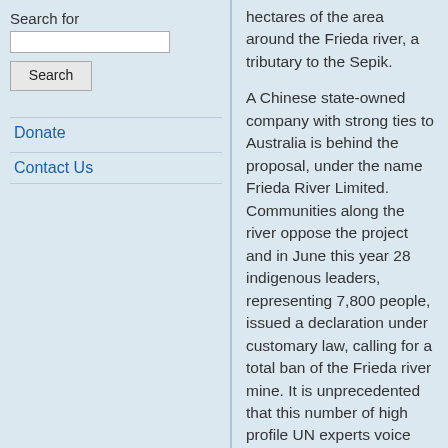Search for
Search
Donate
Contact Us
hectares of the area around the Frieda river, a tributary to the Sepik.
A Chinese state-owned company with strong ties to Australia is behind the proposal, under the name Frieda River Limited. Communities along the river oppose the project and in June this year 28 indigenous leaders, representing 7,800 people, issued a declaration under customary law, calling for a total ban of the Frieda river mine. It is unprecedented that this number of high profile UN experts voice their concerns so early on in a mine's approval process.
“I call on Colombia to implement the directives of its own Constitutional Court and to do more to protect the very vulnerable Wayuu... against pollution from the huge El Cerrejon mine and from COVID-19,” UN Special Rapporteur on human rights and the environment, David Boyd, said in a statement. “At least during the pandemic, operations at the Tajo Patilla site... should be suspended until it can be shown to be safe.” Boyd called on Cerrejon to prevent further harm, adding people living with higher levels of air pollution face increased risk of death from